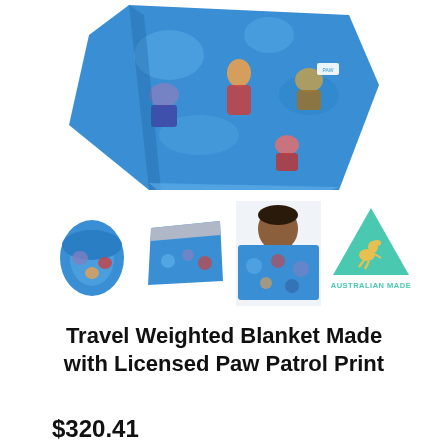[Figure (photo): Main product photo of a blue Paw Patrol themed travel weighted blanket folded, showing characters including Ryder, Chase, and others on a blue background]
[Figure (photo): Thumbnail 1: Rolled/folded blue Paw Patrol blanket]
[Figure (photo): Thumbnail 2: Flat folded blue/grey blanket showing reverse side]
[Figure (photo): Thumbnail 3: Child holding up the Paw Patrol weighted blanket in front of their face]
[Figure (logo): Australian Made logo - teal/green triangle with yellow kangaroo silhouette and text AUSTRALIAN MADE]
Travel Weighted Blanket Made with Licensed Paw Patrol Print
$320.41